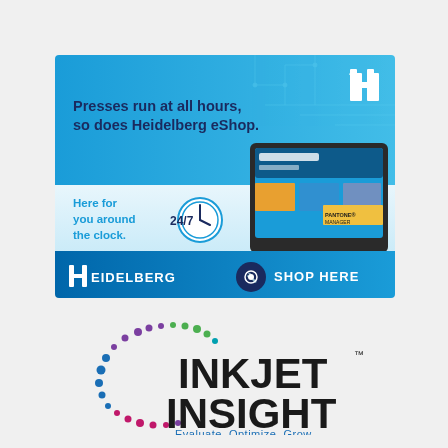[Figure (infographic): Heidelberg eShop advertisement. Blue gradient background with circuit board pattern. Text: 'Presses run at all hours, so does Heidelberg eShop.' Below: 'Here for you around the clock. 24/7' with a clock icon and laptop showing website. Heidelberg logo bottom left. 'SHOP HERE' button bottom right.]
[Figure (logo): Inkjet Insight logo with colorful dot pattern (purple, blue, green dots) and text 'INKJET INSIGHT' in bold black with 'Evaluate. Optimize. Grow.' tagline in blue below.]